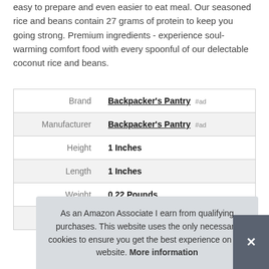easy to prepare and even easier to eat meal. Our seasoned rice and beans contain 27 grams of protein to keep you going strong. Premium ingredients - experience soul-warming comfort food with every spoonful of our delectable coconut rice and beans.
|  |  |
| --- | --- |
| Brand | Backpacker's Pantry #ad |
| Manufacturer | Backpacker's Pantry #ad |
| Height | 1 Inches |
| Length | 1 Inches |
| Weight | 0.22 Pounds |
| P |  |
As an Amazon Associate I earn from qualifying purchases. This website uses the only necessary cookies to ensure you get the best experience on our website. More information